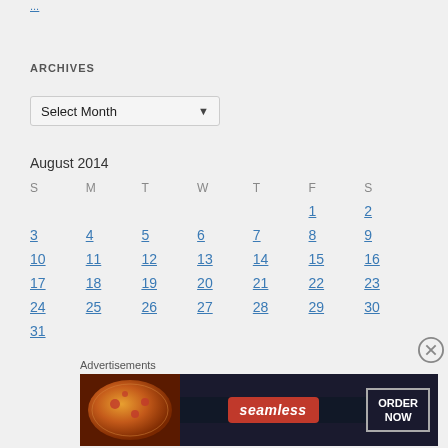...
ARCHIVES
Select Month
August 2014
| S | M | T | W | T | F | S |
| --- | --- | --- | --- | --- | --- | --- |
|  |  |  |  |  | 1 | 2 |
| 3 | 4 | 5 | 6 | 7 | 8 | 9 |
| 10 | 11 | 12 | 13 | 14 | 15 | 16 |
| 17 | 18 | 19 | 20 | 21 | 22 | 23 |
| 24 | 25 | 26 | 27 | 28 | 29 | 30 |
| 31 |  |  |  |  |  |  |
Advertisements
[Figure (photo): Seamless food delivery advertisement banner with pizza image and ORDER NOW button]